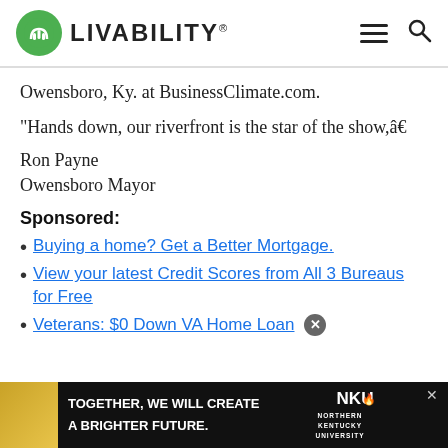LIVABILITY
Owensboro, Ky. at BusinessClimate.com.
“Hands down, our riverfront is the star of the show,â€
Ron Payne
Owensboro Mayor
Sponsored:
Buying a home? Get a Better Mortgage.
View your latest Credit Scores from All 3 Bureaus for Free
Veterans: $0 Down VA Home Loan
[Figure (screenshot): NKU advertisement banner: 'Together, we will create a brighter future.' with Northern Kentucky University logo on dark background with gold accent.]